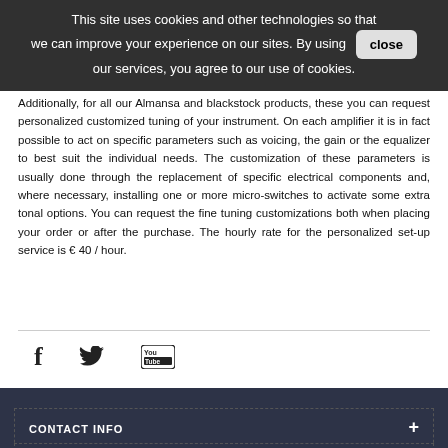This site uses cookies and other technologies so that we can improve your experience on our sites. By using our services, you agree to our use of cookies. close
Additionally, for all our Almansa and blackstock products, these you can request personalized tuning of your instrument. On each amplifier it is in fact possible to act on specific parameters such as voicing, the gain or the equalizer to best suit the individual needs. The customization of these parameters is usually done through the replacement of specific electrical components and, where necessary, installing one or more micro-switches to activate some extra tonal options. You can request the fine tuning customizations both when placing your order or after the purchase. The hourly rate for the personalized set-up service is € 40 / hour.
[Figure (infographic): Social media icons row: Facebook (f), Twitter (bird), YouTube (Tube logo)]
CONTACT INFO
INFORMATION